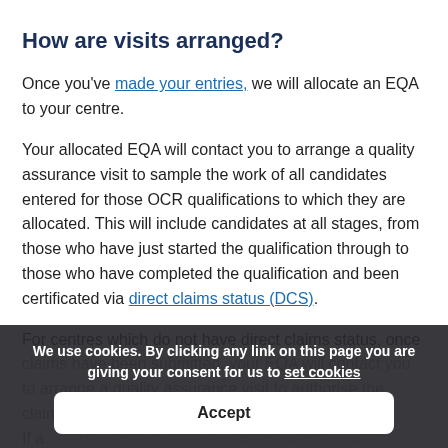How are visits arranged?
Once you've made your entries, we will allocate an EQA to your centre.
Your allocated EQA will contact you to arrange a quality assurance visit to sample the work of all candidates entered for those OCR qualifications to which they are allocated. This will include candidates at all stages, from those who have just started the qualification through to those who have completed the qualification and been certificated via direct claims status (DCS).
For centres which do not have direct claims status, once claims have been submitted, your EQA will contact you to arrange a quality assurance visit to authorise the claims.
If a centre wishes to defer a visit, the verifier must be satisfied there is a legitimate reason.
We use cookies. By clicking any link on this page you are giving your consent for us to set cookies
Accept